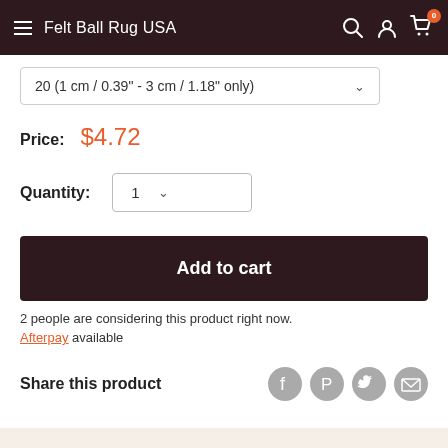Felt Ball Rug USA
20 (1 cm / 0.39" - 3 cm / 1.18" only)
Price: $4.72
Quantity: 1
Add to cart
2 people are considering this product right now.
Afterpay available
Share this product